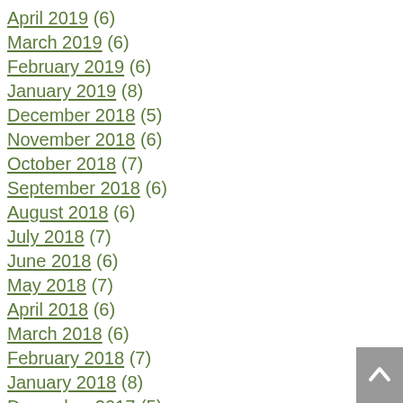April 2019 (6)
March 2019 (6)
February 2019 (6)
January 2019 (8)
December 2018 (5)
November 2018 (6)
October 2018 (7)
September 2018 (6)
August 2018 (6)
July 2018 (7)
June 2018 (6)
May 2018 (7)
April 2018 (6)
March 2018 (6)
February 2018 (7)
January 2018 (8)
December 2017 (5)
November 2017 (6)